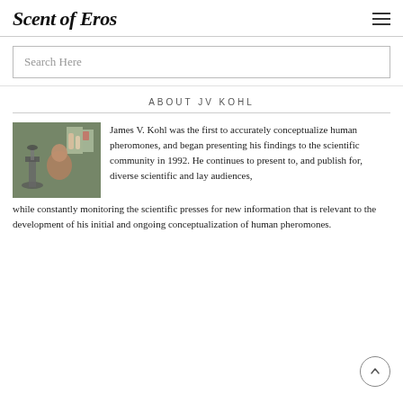Scent of Eros
Search Here
ABOUT JV KOHL
[Figure (photo): Photo of James V. Kohl seated at a laboratory desk with a microscope]
James V. Kohl was the first to accurately conceptualize human pheromones, and began presenting his findings to the scientific community in 1992. He continues to present to, and publish for, diverse scientific and lay audiences, while constantly monitoring the scientific presses for new information that is relevant to the development of his initial and ongoing conceptualization of human pheromones.